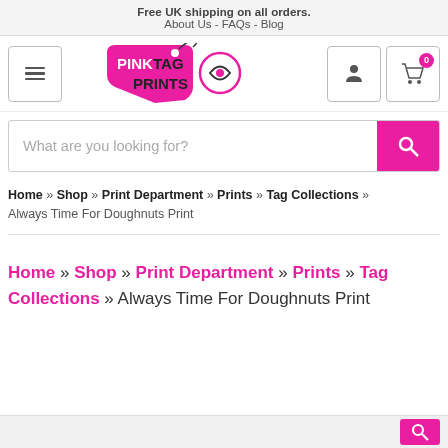Free UK shipping on all orders.
About Us - FAQs - Blog
[Figure (logo): Pink Tag Prints logo — pink price-tag shape with 'PINK TAG PRINTS' text and circular icon]
What are you looking for?
Home » Shop » Print Department » Prints » Tag Collections » Always Time For Doughnuts Print
Home » Shop » Print Department » Prints » Tag Collections » Always Time For Doughnuts Print